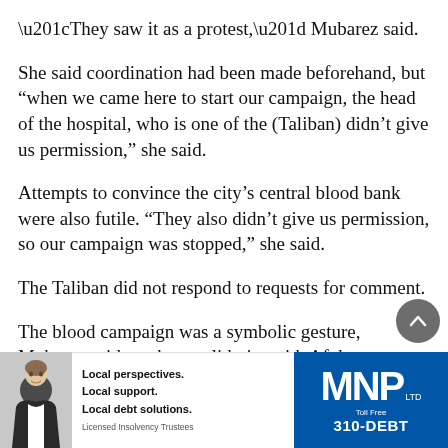“They saw it as a protest,” Mubarez said.
She said coordination had been made beforehand, but “when we came here to start our campaign, the head of the hospital, who is one of the (Taliban) didn’t give us permission,” she said.
Attempts to convince the city’s central blood bank were also futile. “They also didn’t give us permission, so our campaign was stopped,” she said.
The Taliban did not respond to requests for comment.
The blood campaign was a symbolic gesture, Mubarez said, to show solidarity with Afghan women, many of whom
[Figure (advertisement): MNP LTD advertisement banner. Shows a woman in professional attire on the left, text reading 'Local perspectives. Local support. Local debt solutions. Licensed Insolvency Trustees' in the center, and the MNP LTD logo with 'Toll Free 310-DEBT' on the right blue section.]